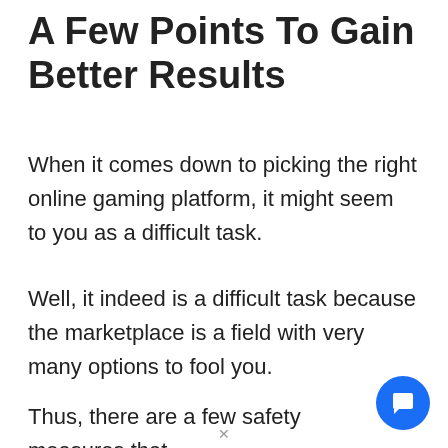A Few Points To Gain Better Results
When it comes down to picking the right online gaming platform, it might seem to you as a difficult task.
Well, it indeed is a difficult task because the marketplace is a field with very many options to fool you.
Thus, there are a few safety measures that